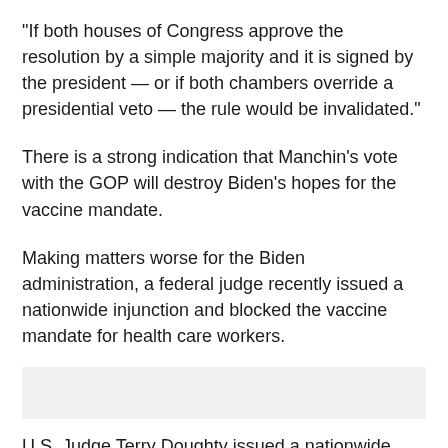“If both houses of Congress approve the resolution by a simple majority and it is signed by the president — or if both chambers override a presidential veto — the rule would be invalidated.”
There is a strong indication that Manchin’s vote with the GOP will destroy Biden’s hopes for the vaccine mandate.
Making matters worse for the Biden administration, a federal judge recently issued a nationwide injunction and blocked the vaccine mandate for health care workers.
[Figure (other): Gray shaded box, likely containing an image or advertisement placeholder]
U.S. Judge Terry Doughty issued a nationwide injunction on Biden’s order. The lawsuit on behalf of health care workers is led by Republican Louisiana Attorney General